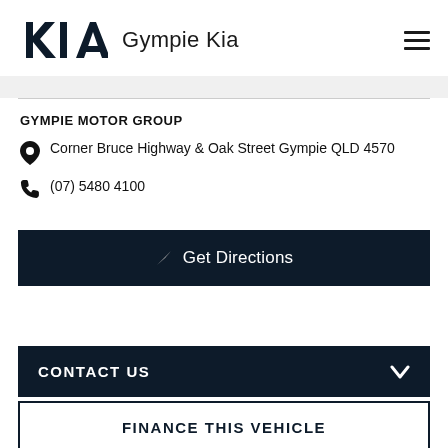[Figure (logo): Kia logo — stylized KIA text in bold black, and 'Gympie Kia' dealership name, with hamburger menu icon]
GYMPIE MOTOR GROUP
Corner Bruce Highway & Oak Street Gympie QLD 4570
(07) 5480 4100
Get Directions
CONTACT US
FINANCE THIS VEHICLE